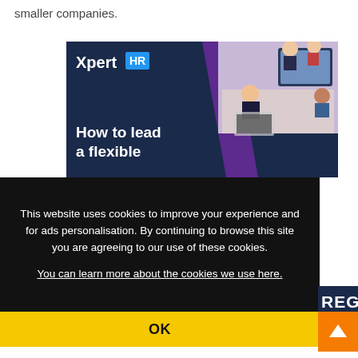smaller companies.
[Figure (illustration): XpertHR advertisement banner showing logo with blue HR badge, headline 'How to lead a flexible' and an office meeting photo with people around a table and a video call on screen]
This website uses cookies to improve your experience and for ads personalisation. By continuing to browse this site you are agreeing to our use of these cookies.
You can learn more about the cookies we use here.
OK
REGIS